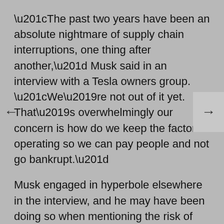“The past two years have been an absolute nightmare of supply chain interruptions, one thing after another,” Musk said in an interview with a Tesla owners group. “We’re not out of it yet. That’s overwhelmingly our concern is how do we keep the factories operating so we can pay people and not go bankrupt.”
Musk engaged in hyperbole elsewhere in the interview, and he may have been doing so when mentioning the risk of bankruptcy. For example, he said that automakers in general “desperately want to go bankrupt,” which falls in the category of colorful language rather than strict financial analysis.
But the company is coming to the end of its most difficult quarter, financially speaking, in more than